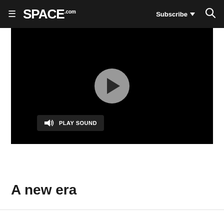SPACE.com — Subscribe | Search
[Figure (screenshot): Black video player with a gray circular play button in the center and a 'PLAY SOUND' button with speaker icon on the lower left]
A new era